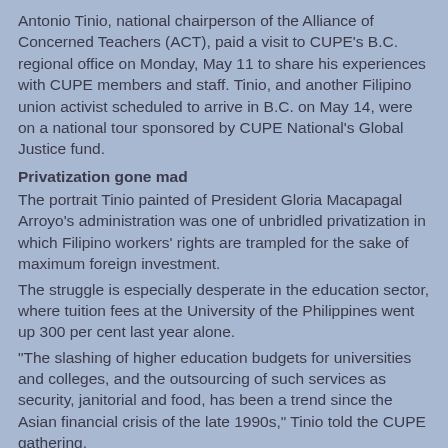Antonio Tinio, national chairperson of the Alliance of Concerned Teachers (ACT), paid a visit to CUPE's B.C. regional office on Monday, May 11 to share his experiences with CUPE members and staff. Tinio, and another Filipino union activist scheduled to arrive in B.C. on May 14, were on a national tour sponsored by CUPE National's Global Justice fund.
Privatization gone mad
The portrait Tinio painted of President Gloria Macapagal Arroyo's administration was one of unbridled privatization in which Filipino workers' rights are trampled for the sake of maximum foreign investment.
The struggle is especially desperate in the education sector, where tuition fees at the University of the Philippines went up 300 per cent last year alone.
“The slashing of higher education budgets for universities and colleges, and the outsourcing of such services as security, janitorial and food, has been a trend since the Asian financial crisis of the late 1990s,” Tinio told the CUPE gathering.
“This period has seen the linking of universities with big corporations. The U of P has leased a lot of land to